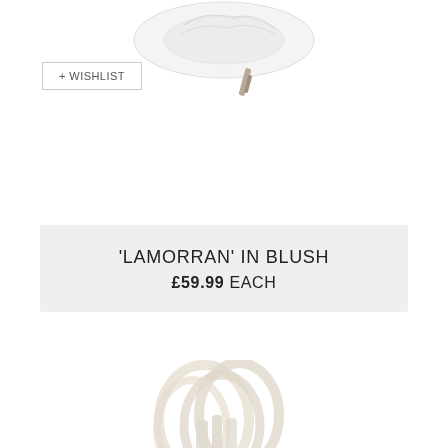[Figure (photo): Partial top view of a white fascinator/hat product on white background]
[Figure (other): Wishlist button with text '+ WISHLIST']
'LAMORRAN' IN BLUSH £59.99 EACH
[Figure (photo): A blush/ivory fascinator with circular ribbon loops and pink silk flowers with bead details, on white background]